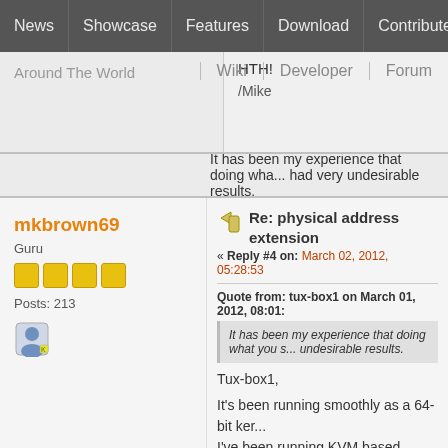News | Showcase | Features | Download | Contribute | Support
Around The World
HTH!
/Mike
Wiki | Developer | Forum
It has been my experience that doing wha... had very undesirable results.
mkbrown69
Guru
Posts: 213
Re: physical address extension
« Reply #4 on: March 02, 2012, 05:28:53
Quote from: tux-box1 on March 01, 2012, 08:01:
It has been my experience that doing what you s... undesirable results.
Tux-box1,
It's been running smoothly as a 64-bit ker... I've been running KVM based virtuals on... suggesting the 64-bit kernel as it would h... one of the reasons I upgraded to 64-bit m... kernel from the 32-bit architecture stream